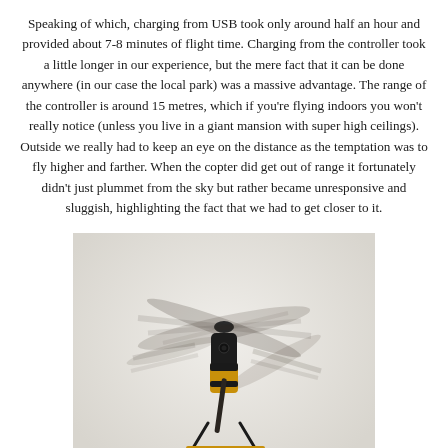Speaking of which, charging from USB took only around half an hour and provided about 7-8 minutes of flight time. Charging from the controller took a little longer in our experience, but the mere fact that it can be done anywhere (in our case the local park) was a massive advantage. The range of the controller is around 15 metres, which if you're flying indoors you won't really notice (unless you live in a giant mansion with super high ceilings). Outside we really had to keep an eye on the distance as the temptation was to fly higher and farther. When the copter did get out of range it fortunately didn't just plummet from the sky but rather became unresponsive and sluggish, highlighting the fact that we had to get closer to it.
[Figure (photo): A small RC helicopter photographed from above/side angle against a light grey-white background, with spinning rotors blurred showing motion. The body is black and yellow.]